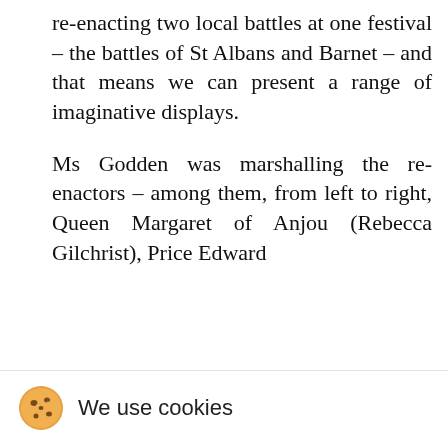re-enacting two local battles at one festival – the battles of St Albans and Barnet – and that means we can present a range of imaginative displays.
Ms Godden was marshalling the re-enactors – among them, from left to right, Queen Margaret of Anjou (Rebecca Gilchrist), Price Edward
We use cookies
We use cookies on our website. Some of them are essential for the operation of the site, while others help us to improve this site and the user experience (tracking cookies). You can decide for yourself whether you want to allow cookies or not. Please note that if you reject them, you may not be able to use all the functionalities of the site.
Ok
Decline
More information